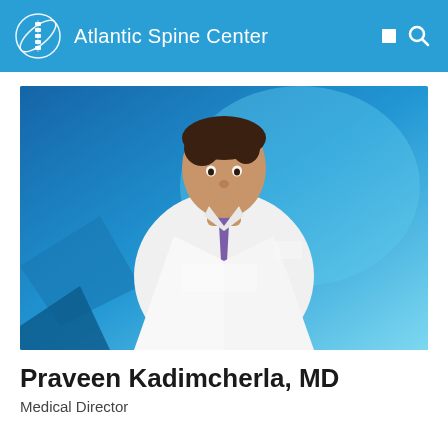Atlantic Spine Center
[Figure (photo): Professional headshot of Dr. Praveen Kadimcherla wearing a white lab coat with purple tie, against a blue background. Lab coat shows embroidered name 'Praveen Kadimcherla, MD' and 'Spine Surgeon', with Atlantic Spine Center logo patch.]
Praveen Kadimcherla, MD
Medical Director